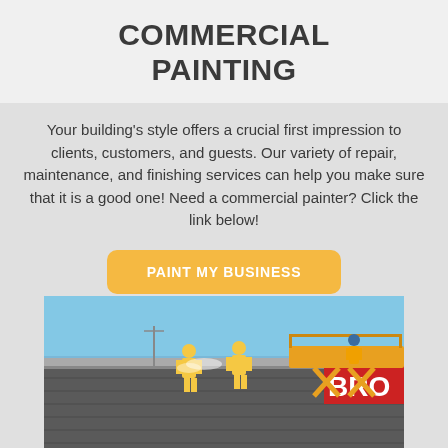COMMERCIAL PAINTING
Your building's style offers a crucial first impression to clients, customers, and guests. Our variety of repair, maintenance, and finishing services can help you make sure that it is a good one! Need a commercial painter? Click the link below!
PAINT MY BUSINESS
[Figure (photo): Workers in yellow safety suits on top of a large commercial building, with a yellow scissor lift platform, pressure washing or painting the exterior under a blue sky. The building has 'BRO' signage visible.]